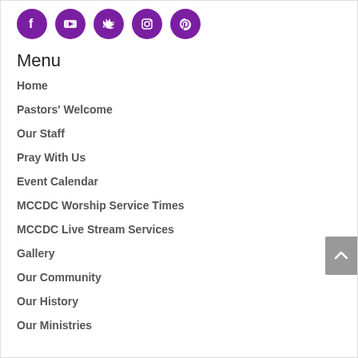[Figure (infographic): Five purple circular social media icons: Facebook, YouTube, Twitter, Instagram, Pinterest]
Menu
Home
Pastors' Welcome
Our Staff
Pray With Us
Event Calendar
MCCDC Worship Service Times
MCCDC Live Stream Services
Gallery
Our Community
Our History
Our Ministries